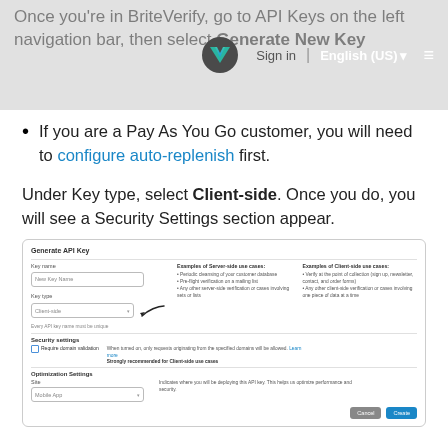Once you're in BriteVerify, go to API Keys on the left navigation bar, then select Generate New Key
If you are a Pay As You Go customer, you will need to configure auto-replenish first.
Under Key type, select Client-side. Once you do, you will see a Security Settings section appear.
[Figure (screenshot): Screenshot of Generate API Key dialog showing Key name field, Key type set to Client-side with arrow, examples of server-side and client-side use cases, Security settings with Require domain validation checkbox, Optimization Settings with Site field set to Mobile App, and Cancel/Create buttons.]